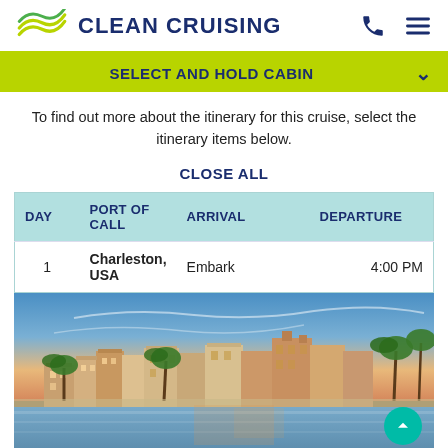CLEAN CRUISING
SELECT AND HOLD CABIN
To find out more about the itinerary for this cruise, select the itinerary items below.
CLOSE ALL
| DAY | PORT OF CALL | ARRIVAL | DEPARTURE |
| --- | --- | --- | --- |
| 1 | Charleston, USA | Embark | 4:00 PM |
[Figure (photo): Panoramic waterfront view of Charleston, USA at dusk/sunset showing historic buildings, palm trees, and calm water in the foreground with a colorful sky.]